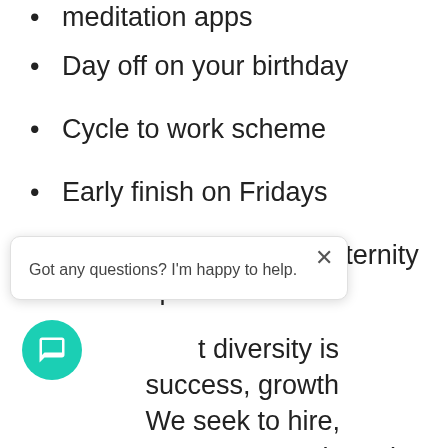meditation apps
Day off on your birthday
Cycle to work scheme
Early finish on Fridays
Enhanced maternity, paternity and adoption leave.
...t diversity is success, growth We seek to hire, ...most talented people from a diverse candidate pool, and fore encourage applications from all suitably qualified candidates regardless of
Got any questions? I'm happy to help.